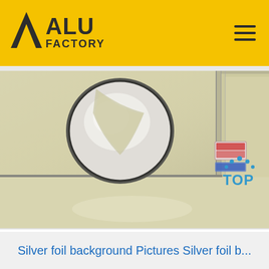ALU FACTORY
[Figure (photo): Silver foil / aluminum sheets stacked on a surface, with a large circular hole cut through the top sheet exposing a reflective interior. Some small labels/tags are visible on the right side of the sheets.]
Silver foil background Pictures Silver foil b...